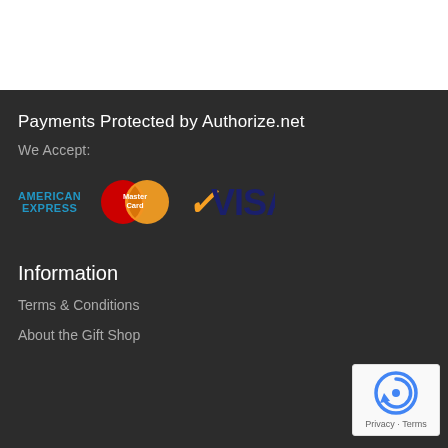Payments Protected by Authorize.net
We Accept:
[Figure (logo): American Express, MasterCard, and VISA payment logos]
Information
Terms & Conditions
About the Gift Shop
[Figure (logo): reCAPTCHA badge with Privacy - Terms text]